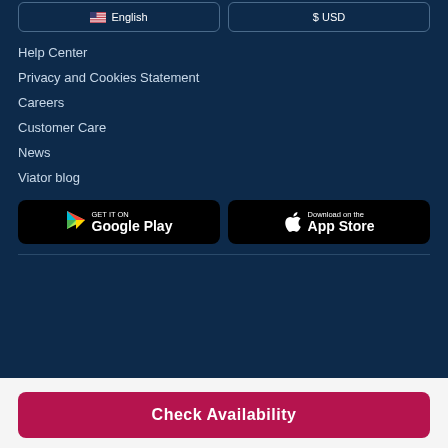Help Center
Privacy and Cookies Statement
Careers
Customer Care
News
Viator blog
[Figure (screenshot): GET IT ON Google Play button]
[Figure (screenshot): Download on the App Store button]
Check Availability